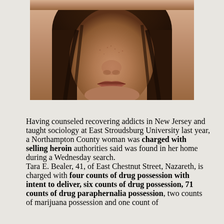[Figure (photo): Mugshot photo of a woman, cropped showing from chin/lower face upward, brown hair, against a neutral background]
Having counseled recovering addicts in New Jersey and taught sociology at East Stroudsburg University last year, a Northampton County woman was charged with selling heroin authorities said was found in her home during a Wednesday search. Tara E. Bealer, 41, of East Chestnut Street, Nazareth, is charged with four counts of drug possession with intent to deliver, six counts of drug possession, 71 counts of drug paraphernalia possession, two counts of marijuana possession and one count of